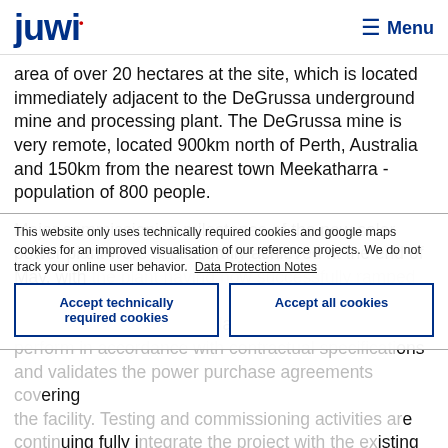juwi  Menu
area of over 20 hectares at the site, which is located immediately adjacent to the DeGrussa underground mine and processing plant. The DeGrussa mine is very remote, located 900km north of Perth, Australia and 150km from the nearest town Meekatharra - population of 800 people.
Major commissioning milestones of the new solar power plant were successfully achieved at the end of May, with the plant having now successfully ramped up to its full generating capacity. The plant can perform in accordance with contractual specifications and validates the power purchase agreements covering the facility. Testing and commissioning activities are continuing fully integrate the project with the existing diesel-fired power station and to ensure it can maintain stable operation at 100...
This website only uses technically required cookies and google maps cookies for an improved visualisation of our reference projects. We do not track your online user behavior. Data Protection Notes
Accept technically required cookies
Accept all cookies